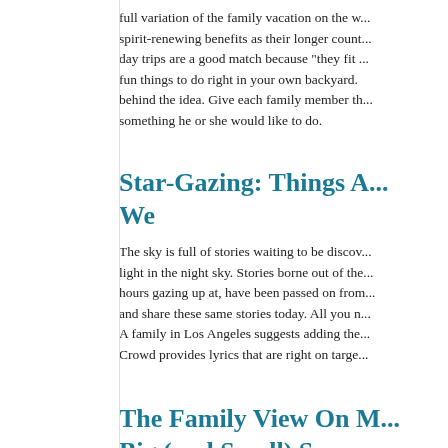full variation of the family vacation on the w... spirit-renewing benefits as their longer count... day trips are a good match because "they fit ... fun things to do right in your own backyard. ... behind the idea. Give each family member th... something he or she would like to do.
Star-Gazing: Things A... We
The sky is full of stories waiting to be discov... light in the night sky. Stories borne out of the... hours gazing up at, have been passed on from... and share these same stories today. All you n... A family in Los Angeles suggests adding the... Crowd provides lyrics that are right on targe...
The Family View On M... Big (and Small) Scree...
Do you experience a subtle thrill of anticipat... for your seat, trying not to spill the popcorn a...